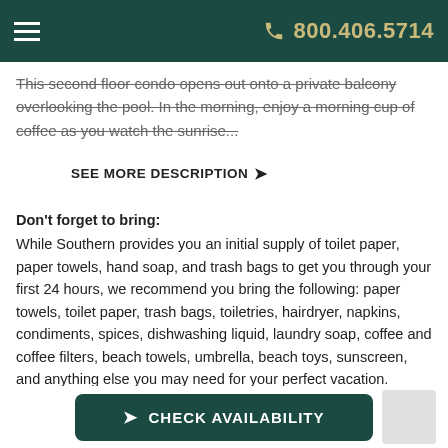800.406.5714
This second floor condo opens out onto a private balcony overlooking the pool. In the morning, enjoy a morning cup of coffee as you watch the sunrise...
SEE MORE DESCRIPTION ❯
Don't forget to bring: While Southern provides you an initial supply of toilet paper, paper towels, hand soap, and trash bags to get you through your first 24 hours, we recommend you bring the following: paper towels, toilet paper, trash bags, toiletries, hairdryer, napkins, condiments, spices, dishwashing liquid, laundry soap, coffee and coffee filters, beach towels, umbrella, beach toys, sunscreen, and anything else you may need for your perfect vacation.
❯ CHECK AVAILABILITY